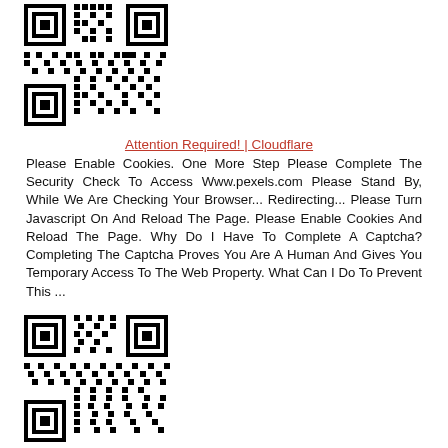[Figure (other): QR code image at top of page, black and white square barcode]
Attention Required! | Cloudflare
Please Enable Cookies. One More Step Please Complete The Security Check To Access Www.pexels.com Please Stand By, While We Are Checking Your Browser... Redirecting... Please Turn Javascript On And Reload The Page. Please Enable Cookies And Reload The Page. Why Do I Have To Complete A Captcha? Completing The Captcha Proves You Are A Human And Gives You Temporary Access To The Web Property. What Can I Do To Prevent This ...
[Figure (other): QR code image in middle of page, black and white square barcode]
Attention Required! | Cloudflare
Please Enable Cookies. One More Step Please Complete The Security Check To Access Www.pexels.com Please Stand By, While We Are Checking Your Browser... Redirecting... Please Turn Javascript On And Reload The Page. Please Enable Cookies And Reload The Page. Why Do I Have To Complete A Captcha? Completing The Captcha Proves You Are A Human And Gives You Temporary Access To The Web Property. What Can I Do To Prevent This ...